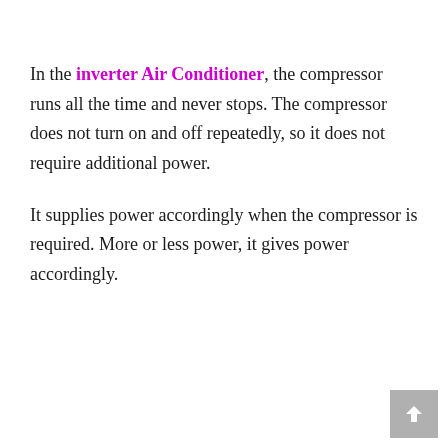In the inverter Air Conditioner, the compressor runs all the time and never stops. The compressor does not turn on and off repeatedly, so it does not require additional power.
It supplies power accordingly when the compressor is required. More or less power, it gives power accordingly.